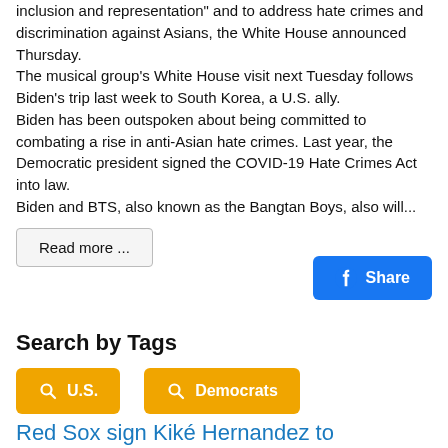inclusion and representation" and to address hate crimes and discrimination against Asians, the White House announced Thursday.
The musical group's White House visit next Tuesday follows Biden's trip last week to South Korea, a U.S. ally.
Biden has been outspoken about being committed to combating a rise in anti-Asian hate crimes. Last year, the Democratic president signed the COVID-19 Hate Crimes Act into law.
Biden and BTS, also known as the Bangtan Boys, also will...
Read more ...
Share
Search by Tags
U.S.
Democrats
Red Sox sign Kiké Hernandez to